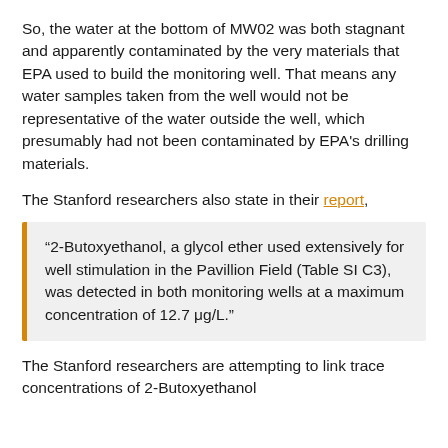So, the water at the bottom of MW02 was both stagnant and apparently contaminated by the very materials that EPA used to build the monitoring well. That means any water samples taken from the well would not be representative of the water outside the well, which presumably had not been contaminated by EPA's drilling materials.
The Stanford researchers also state in their report,
“2-Butoxyethanol, a glycol ether used extensively for well stimulation in the Pavillion Field (Table SI C3), was detected in both monitoring wells at a maximum concentration of 12.7 μg/L.”
The Stanford researchers are attempting to link trace concentrations of 2-Butoxyethanol